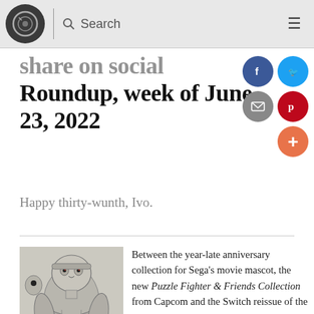Search
Roundup, week of June 23, 2022
Happy thirty-wunth, Ivo.
[Figure (illustration): Illustration of a muscular fighter character labeled GSK, with publication date June 22, 2022 7:07 PM]
Between the year-late anniversary collection for Sega's movie mascot, the new Puzzle Fighter & Friends Collection from Capcom and the Switch reissue of the premier N64 Pokemon game, you might not have room for much else on your gaming schedule, but I'd like to take a moment to remind people that Rocku